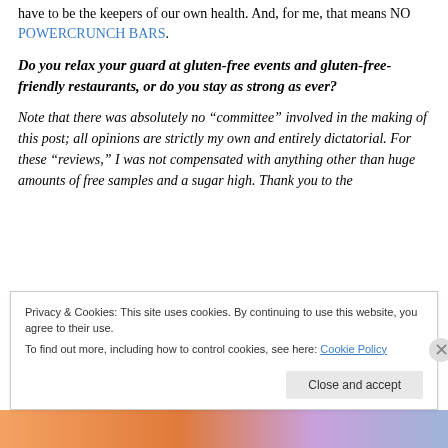have to be the keepers of our own health. And, for me, that means NO POWERCRUNCH BARS.
Do you relax your guard at gluten-free events and gluten-free-friendly restaurants, or do you stay as strong as ever?
Note that there was absolutely no “committee” involved in the making of this post; all opinions are strictly my own and entirely dictatorial. For these “reviews,” I was not compensated with anything other than huge amounts of free samples and a sugar high. Thank you to the
Privacy & Cookies: This site uses cookies. By continuing to use this website, you agree to their use.
To find out more, including how to control cookies, see here: Cookie Policy